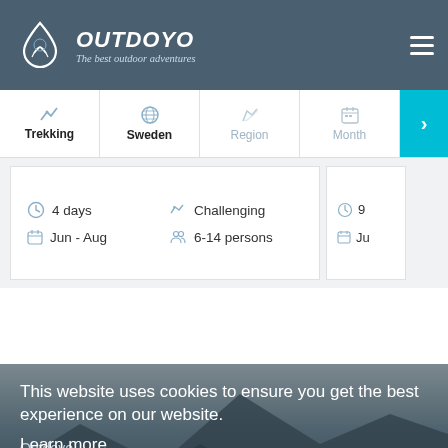[Figure (screenshot): OUTDOYO logo - droplet icon with tree silhouette]
OUTDOYO
The best outdoor adventures
Trekking | Sweden | Region | Month
4 days | Jun - Aug | Challenging | 6-14 persons
This website uses cookies to ensure you get the best experience on our website.
Learn more
Outdoyo
About us
Contact / FAQ
Got it
Destinations